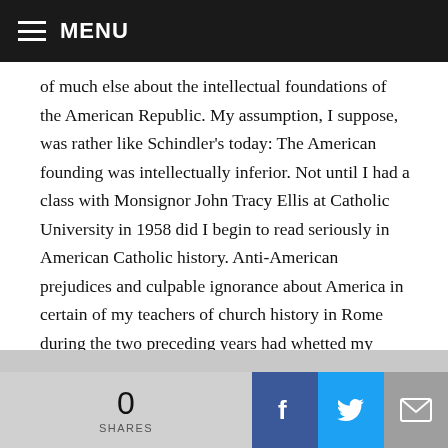MENU
of much else about the intellectual foundations of the American Republic. My assumption, I suppose, was rather like Schindler's today: The American founding was intellectually inferior. Not until I had a class with Monsignor John Tracy Ellis at Catholic University in 1958 did I begin to read seriously in American Catholic history. Anti-American prejudices and culpable ignorance about America in certain of my teachers of church history in Rome during the two preceding years had whetted my appetite.
0 SHARES